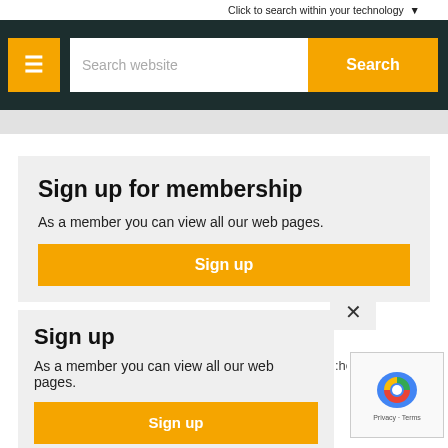Click to search within your technology ▼
[Figure (screenshot): Navigation bar with hamburger menu button (orange), search input field, and Search button (orange) on dark teal/black background]
Sign up for membership
As a member you can view all our web pages.
Sign up
Sign up
As a member you can view all our web pages.
Sign up
Sign up for our newsletter by registering your e-mail